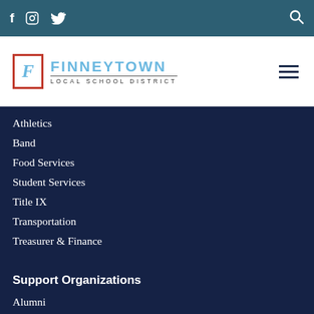f  Instagram  Twitter  [search]
[Figure (logo): Finneytown Local School District logo with stylized F in red border and blue text]
Athletics
Band
Food Services
Student Services
Title IX
Transportation
Treasurer & Finance
Support Organizations
Alumni